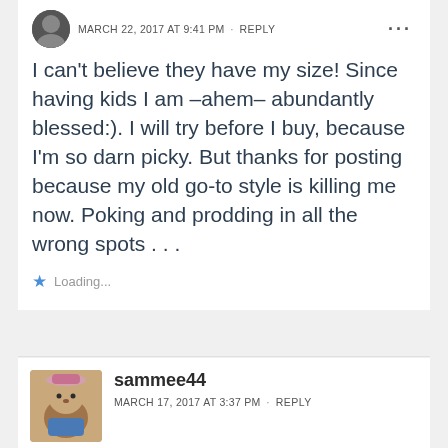MARCH 22, 2017 AT 9:41 PM · REPLY
I can't believe they have my size! Since having kids I am –ahem– abundantly blessed:). I will try before I buy, because I'm so darn picky. But thanks for posting because my old go-to style is killing me now. Poking and prodding in all the wrong spots . . .
Loading...
sammee44
MARCH 17, 2017 AT 3:37 PM · REPLY